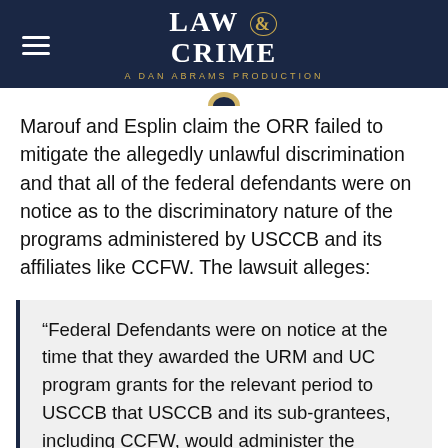LAW & CRIME — A DAN ABRAMS PRODUCTION
Marouf and Esplin claim the ORR failed to mitigate the allegedly unlawful discrimination and that all of the federal defendants were on notice as to the discriminatory nature of the programs administered by USCCB and its affiliates like CCFW. The lawsuit alleges:
“Federal Defendants were on notice at the time that they awarded the URM and UC program grants for the relevant period to USCCB that USCCB and its sub-grantees, including CCFW, would administer the